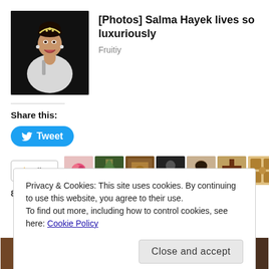[Figure (photo): Photo of Salma Hayek in white dress with hair up and tiara, smiling, against dark background]
[Photos] Salma Hayek lives so luxuriously
Fruitiy
Share this:
[Figure (other): Tweet button (blue rounded rectangle with Twitter bird icon and 'Tweet' text)]
[Figure (other): Like button with star icon and avatar strip showing 8 blogger profile photos]
8 bloggers like this.
Privacy & Cookies: This site uses cookies. By continuing to use this website, you agree to their use.
To find out more, including how to control cookies, see here: Cookie Policy
[Figure (other): Close and accept button (gray rounded rectangle)]
[Figure (photo): Two thumbnail images at the bottom of the page]